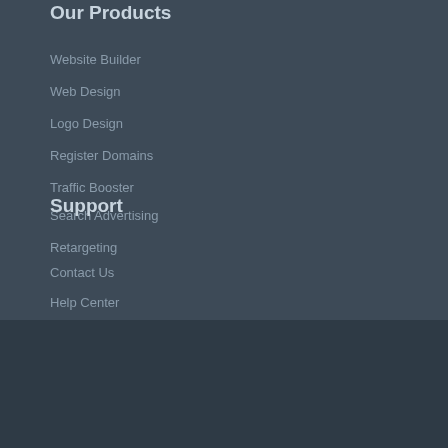Our Products
Website Builder
Web Design
Logo Design
Register Domains
Traffic Booster
Support
Search Advertising
Retargeting
Contact Us
Help Center
Blog
Copyright © 2021 Fgrade.Com  - All rights reserved.
Terms of Service  |  Privacy Policy  |  Site Map